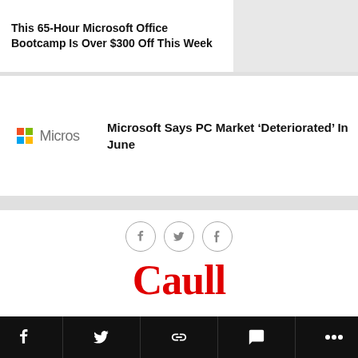[Figure (photo): Thumbnail photo of person typing on a laptop]
This 65-Hour Microsoft Office Bootcamp Is Over $300 Off This Week
[Figure (logo): Microsoft logo with four-color grid and partial wordmark 'Micros']
Microsoft Says PC Market ‘Deteriorated’ In June
[Figure (infographic): Three circular social media icons: Facebook (f), Twitter (bird), Tumblr (t)]
Caull
Write for us   Advertise With us   Privacy Policy
[Figure (infographic): Black bottom navigation bar with icons: Facebook, Twitter, link/chain, chat bubble, ellipsis (more)]